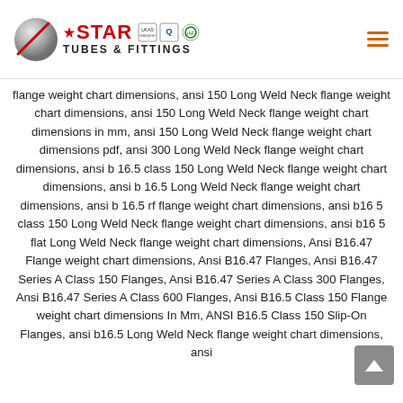Star Tubes & Fittings logo with certification marks
flange weight chart dimensions, ansi 150 Long Weld Neck flange weight chart dimensions, ansi 150 Long Weld Neck flange weight chart dimensions in mm, ansi 150 Long Weld Neck flange weight chart dimensions pdf, ansi 300 Long Weld Neck flange weight chart dimensions, ansi b 16.5 class 150 Long Weld Neck flange weight chart dimensions, ansi b 16.5 Long Weld Neck flange weight chart dimensions, ansi b 16.5 rf flange weight chart dimensions, ansi b16 5 class 150 Long Weld Neck flange weight chart dimensions, ansi b16 5 flat Long Weld Neck flange weight chart dimensions, Ansi B16.47 Flange weight chart dimensions, Ansi B16.47 Flanges, Ansi B16.47 Series A Class 150 Flanges, Ansi B16.47 Series A Class 300 Flanges, Ansi B16.47 Series A Class 600 Flanges, Ansi B16.5 Class 150 Flange weight chart dimensions In Mm, ANSI B16.5 Class 150 Slip-On Flanges, ansi b16.5 Long Weld Neck flange weight chart dimensions, ansi